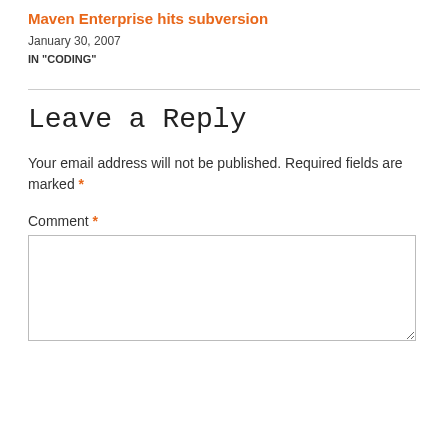Maven Enterprise hits subversion
January 30, 2007
IN "CODING"
Leave a Reply
Your email address will not be published. Required fields are marked *
Comment *